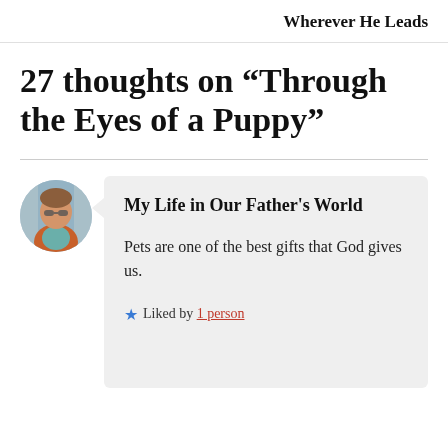Wherever He Leads
27 thoughts on “Through the Eyes of a Puppy”
My Life in Our Father's World
Pets are one of the best gifts that God gives us.
Liked by 1 person